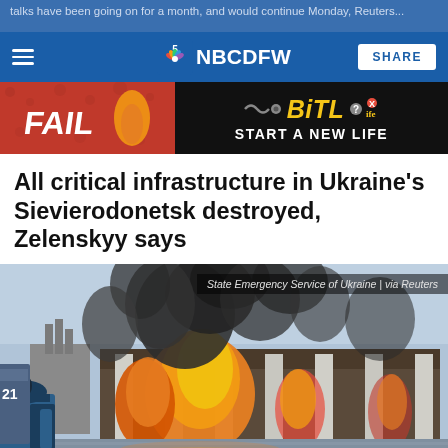talks have been going on for a month, and would continue Monday, Reuters...
NBC5 NBCDFW | SHARE
[Figure (other): Advertisement banner for BitLife game: 'FAIL' text on left with cartoon character, BitLife logo on right, 'START A NEW LIFE' tagline on dark background]
All critical infrastructure in Ukraine's Sievierodonetsk destroyed, Zelenskyy says
[Figure (photo): A burning industrial building engulfed in flames and black smoke. A firefighter in blue gear is seen in the foreground on the left. The scene shows a large warehouse-type structure with columns, with intense orange flames visible through openings. Photo credit: State Emergency Service of Ukraine | via Reuters]